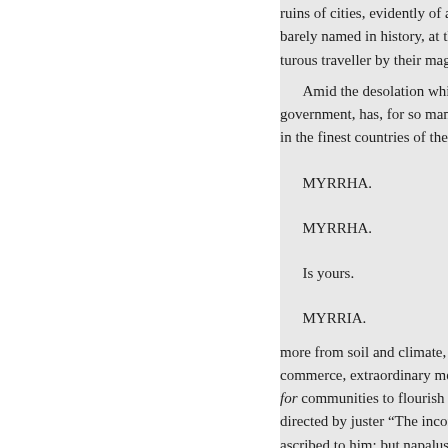ruins of cities, evidently of an ag barely named in history, at this d turous traveller by their magnific
Amid the desolation which, un government, has, for so many ce in the finest countries of the glob
MYRRHA.
MYRRHA.
Is yours.
MYRRIA.
more from soil and climate, or fr commerce, extraordinary means for communities to flourish there directed by juster “The inconsist ascribed to him; but napalus is st dynasty, ended | Mitford’s Greec
The Two Foscari: